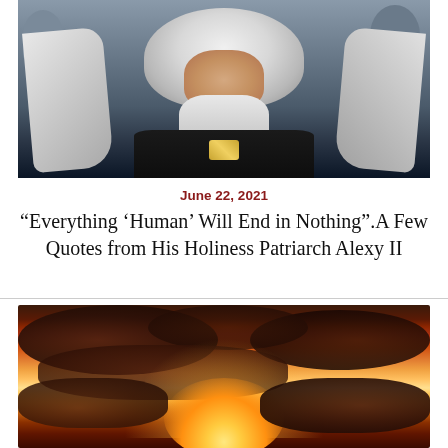[Figure (photo): Portrait photo of His Holiness Patriarch Alexy II wearing white klobuk (head covering) and black robes with gold chain/panagia, with church domes visible in the background]
June 22, 2021
“Everything ‘Human’ Will End in Nothing”.A Few Quotes from His Holiness Patriarch Alexy II
[Figure (photo): Dramatic sunset sky with dark reddish-brown clouds and bright golden-orange sun glow breaking through the clouds from below]